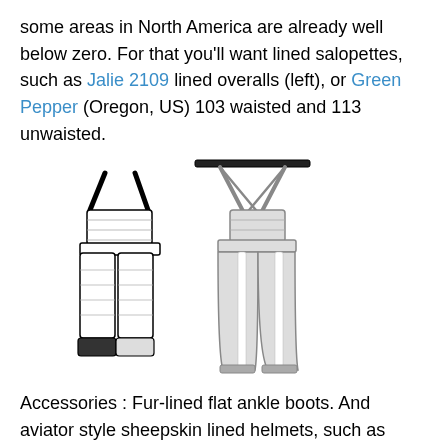some areas in North America are already well below zero. For that you'll want lined salopettes, such as Jalie 2109 lined overalls (left), or Green Pepper (Oregon, US) 103 waisted and 113 unwaisted.
[Figure (illustration): Two illustrated salopettes/overalls: a shorter quilted bib overall on the left and a taller ski salopette with suspenders on the right, both shown as line drawings.]
Accessories : Fur-lined flat ankle boots. And aviator style sheepskin lined helmets, such as Kwik Sew 2613, or Onion 6006 accessories.